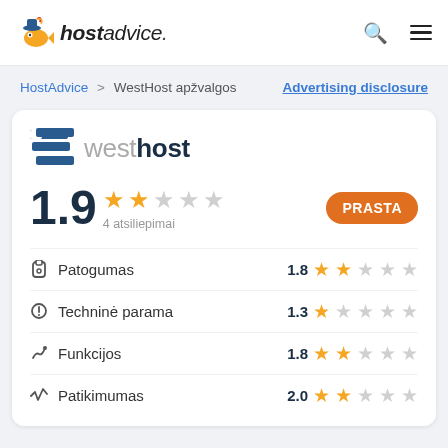hostadvice.
HostAdvice > WestHost apžvalgos   Advertising disclosure
[Figure (logo): WestHost logo with blue horizontal bars and wordmark 'westhost']
1.9  ★★☆☆☆  4 atsiliepimai   PRASTA
Patogumas  1.8 ★★☆☆☆
Techninė parama  1.3 ★☆☆☆☆
Funkcijos  1.8 ★★☆☆☆
Patikimumas  2.0 ★★☆☆☆